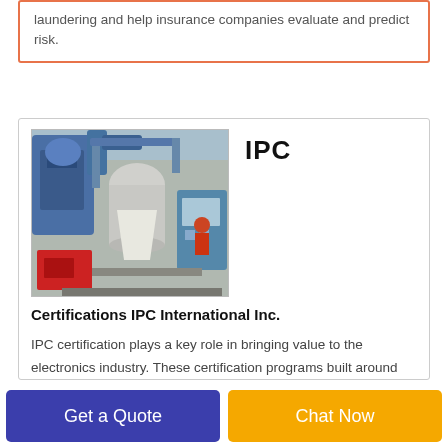laundering and help insurance companies evaluate and predict risk.
[Figure (photo): Industrial machine photo showing manufacturing/recycling equipment with blue, red, and grey machinery components in a factory setting]
IPC
Certifications IPC International Inc.
IPC certification plays a key role in bringing value to the electronics industry. These certification programs built around IPC standards developed and approved by industry are delivered in a classroom setting by IPC certified
Get a Quote
Chat Now